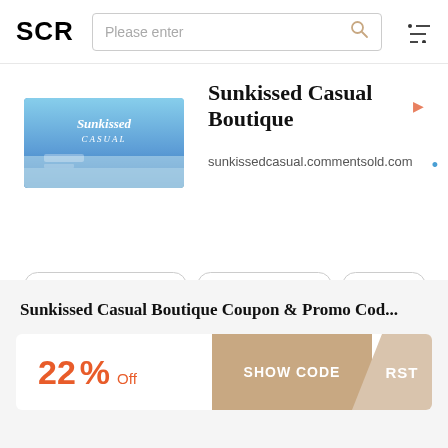SCR
Sunkissed Casual Boutique
sunkissedcasual.commentsold.com
Clothing & Accessories
Women's Clothing
Footwear
Sunkissed Casual Boutique Coupon & Promo Cod...
22% Off
SHOW CODE